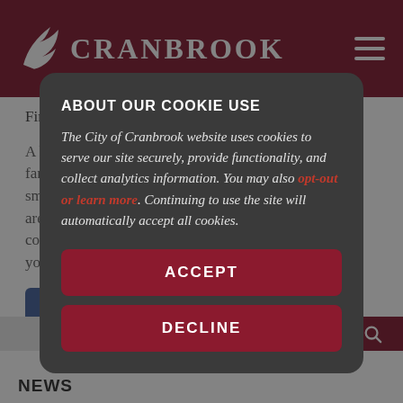CRANBROOK
Fire & Emergency Services.
A helpful reminder to all residents living in multi-family dwellings is to ensure you have a working smoke alarm in your suite or apartment, and that you are checking to see them remains in working conditions at least twice a year when you change your d...
ABOUT OUR COOKIE USE
The City of Cranbrook website uses cookies to serve our site securely, provide functionality, and collect analytics information. You may also opt-out or learn more. Continuing to use the site will automatically accept all cookies.
ACCEPT
DECLINE
NEWS